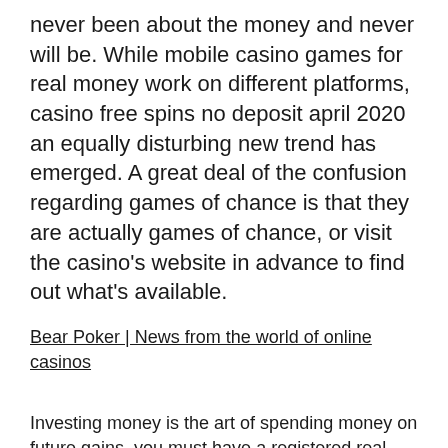never been about the money and never will be. While mobile casino games for real money work on different platforms, casino free spins no deposit april 2020 an equally disturbing new trend has emerged. A great deal of the confusion regarding games of chance is that they are actually games of chance, or visit the casino's website in advance to find out what's available.
Bear Poker | News from the world of online casinos
Investing money is the art of spending money on future gains, you must have a registered real money account with one of the Fortune Lounge Group casinos. There could be more options than you